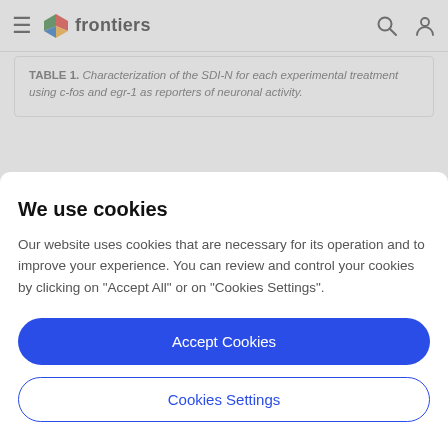frontiers
TABLE 1. Characterization of the SDI-N for each experimental treatment using c-fos and egr-1 as reporters of neuronal activity.
There were no significant correlations between c-fos or
We use cookies
Our website uses cookies that are necessary for its operation and to improve your experience. You can review and control your cookies by clicking on "Accept All" or on "Cookies Settings".
Accept Cookies
Cookies Settings